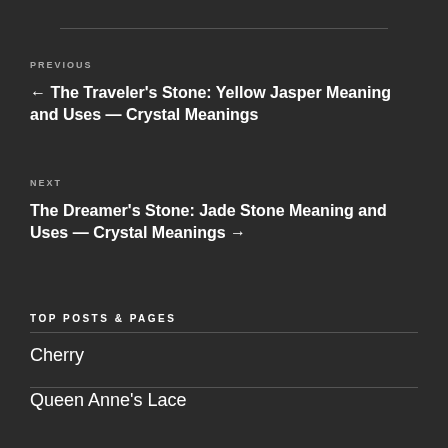PREVIOUS
← The Traveler's Stone: Yellow Jasper Meaning and Uses — Crystal Meanings
NEXT
The Dreamer's Stone: Jade Stone Meaning and Uses — Crystal Meanings →
TOP POSTS & PAGES
Cherry
Queen Anne's Lace